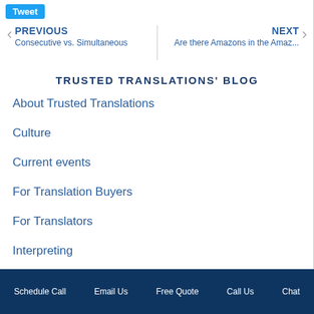Tweet
PREVIOUS Consecutive vs. Simultaneous
NEXT Are there Amazons in the Amaz...
TRUSTED TRANSLATIONS' BLOG
About Trusted Translations
Culture
Current events
For Translation Buyers
For Translators
Interpreting
Languages
Literature
Schedule Call   Email Us   Free Quote   Call Us   Chat